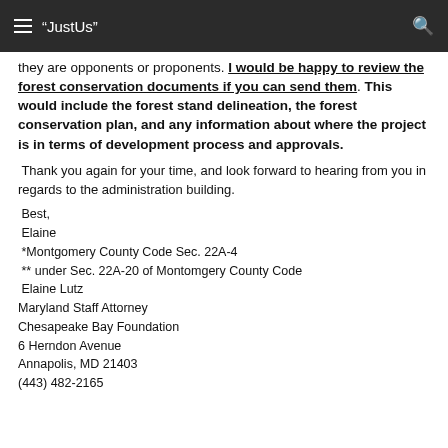"JustUs"
they are opponents or proponents. I would be happy to review the forest conservation documents if you can send them. This would include the forest stand delineation, the forest conservation plan, and any information about where the project is in terms of development process and approvals.
Thank you again for your time, and look forward to hearing from you in regards to the administration building.
Best,
Elaine
*Montgomery County Code Sec. 22A-4
** under Sec. 22A-20 of Montomgery County Code
Elaine Lutz
Maryland Staff Attorney
Chesapeake Bay Foundation
6 Herndon Avenue
Annapolis, MD 21403
(443) 482-2165